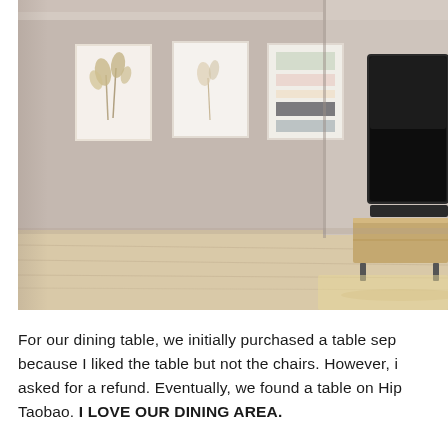[Figure (photo): Interior photo of a living room with a beige/taupe wall featuring three framed art prints hanging on it. The room has light wood flooring. On the right side, a large flat-screen TV is mounted on the wall with a wooden TV console/stand below it. The space is minimal and modern.]
For our dining table, we initially purchased a table sep because I liked the table but not the chairs. However, i asked for a refund. Eventually, we found a table on Hip Taobao. I LOVE OUR DINING AREA.